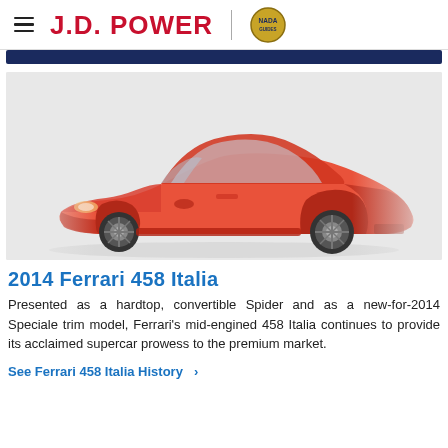J.D. POWER
[Figure (photo): Red Ferrari 458 Italia sports car photographed from the front-left angle against a white/light grey background]
2014 Ferrari 458 Italia
Presented as a hardtop, convertible Spider and as a new-for-2014 Speciale trim model, Ferrari's mid-engined 458 Italia continues to provide its acclaimed supercar prowess to the premium market.
See Ferrari 458 Italia History  >